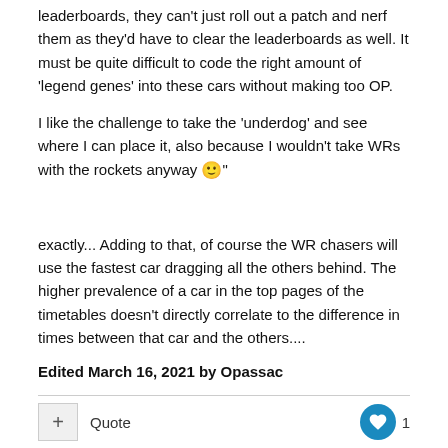leaderboards, they can't just roll out a patch and nerf them as they'd have to clear the leaderboards as well. It must be quite difficult to code the right amount of 'legend genes' into these cars without making too OP.
I like the challenge to take the 'underdog' and see where I can place it, also because I wouldn't take WRs with the rockets anyway 🙂"
exactly... Adding to that, of course the WR chasers will use the fastest car dragging all the others behind. The higher prevalence of a car in the top pages of the timetables doesn't directly correlate to the difference in times between that car and the others....
Edited March 16, 2021 by Opassac